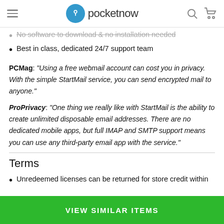pocketnow
No software to download & no installation needed
Best in class, dedicated 24/7 support team
PCMag: "Using a free webmail account can cost you in privacy. With the simple StartMail service, you can send encrypted mail to anyone."
ProPrivacy: "One thing we really like with StartMail is the ability to create unlimited disposable email addresses. There are no dedicated mobile apps, but full IMAP and SMTP support means you can use any third-party email app with the service."
Terms
Unredeemed licenses can be returned for store credit within
VIEW SIMILAR ITEMS